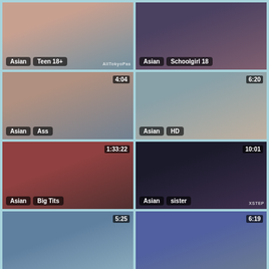[Figure (screenshot): Video thumbnail 1 - Asian Teen 18+, watermark AllTokyoPas]
[Figure (screenshot): Video thumbnail 2 - Asian Schoolgirl 18]
[Figure (screenshot): Video thumbnail 3 - Asian Ass, duration 4:04]
[Figure (screenshot): Video thumbnail 4 - Asian HD, duration 6:20]
[Figure (screenshot): Video thumbnail 5 - Asian Big Tits, duration 1:33:22]
[Figure (screenshot): Video thumbnail 6 - Asian sister, duration 10:01, watermark XSTEP]
[Figure (screenshot): Video thumbnail 7 - duration 5:25 (partial, row 4 left)]
[Figure (screenshot): Video thumbnail 8 - duration 6:19 (partial, row 4 right)]